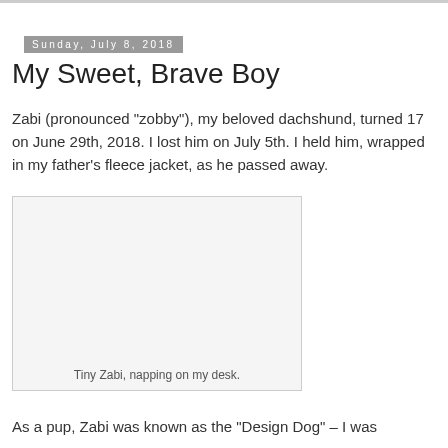Sunday, July 8, 2018
My Sweet, Brave Boy
Zabi (pronounced "zobby"), my beloved dachshund, turned 17 on June 29th, 2018. I lost him on July 5th. I held him, wrapped in my father's fleece jacket, as he passed away.
[Figure (photo): Photo of Tiny Zabi napping on a desk — image area shown as light gray placeholder]
Tiny Zabi, napping on my desk.
As a pup, Zabi was known as the "Design Dog" – I was